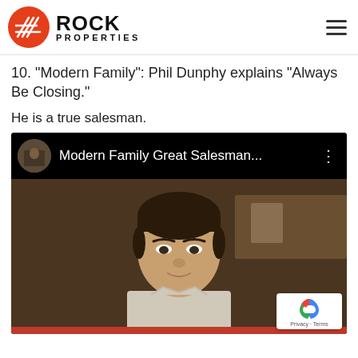Rock Properties
10. "Modern Family": Phil Dunphy explains "Always Be Closing."
He is a true salesman.
[Figure (screenshot): Embedded YouTube video showing 'Modern Family Great Salesman...' with a thumbnail of a man in a kitchen scene. A reCAPTCHA badge with 'Privacy · Terms' appears in the bottom-right corner.]